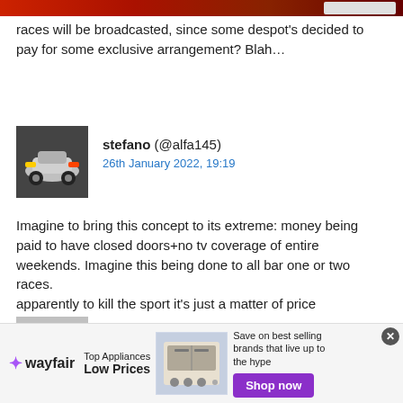races will be broadcasted, since some despot's decided to pay for some exclusive arrangement? Blah…
stefano (@alfa145)
26th January 2022, 19:19
Imagine to bring this concept to its extreme: money being paid to have closed doors+no tv coverage of entire weekends. Imagine this being done to all bar one or two races.
apparently to kill the sport it's just a matter of price
theRealMax (@millionus)
26th January 2022, 21:21